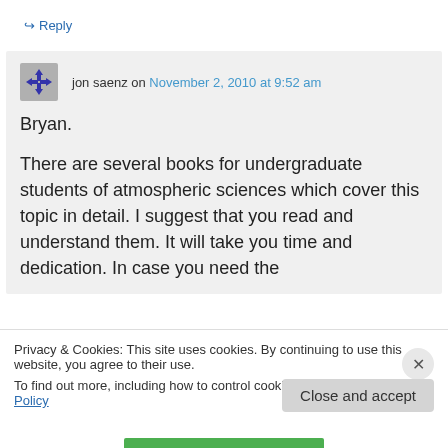↪ Reply
jon saenz on November 2, 2010 at 9:52 am
Bryan.

There are several books for undergraduate students of atmospheric sciences which cover this topic in detail. I suggest that you read and understand them. It will take you time and dedication. In case you need the
Privacy & Cookies: This site uses cookies. By continuing to use this website, you agree to their use.
To find out more, including how to control cookies, see here: Cookie Policy